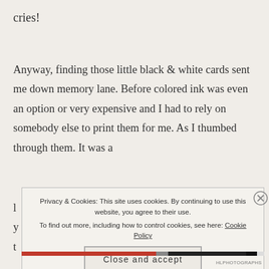cries!
Anyway, finding those little black & white cards sent me down memory lane. Before colored ink was even an option or very expensive and I had to rely on somebody else to print them for me. As I thumbed through them. It was a
l
y
t
Privacy & Cookies: This site uses cookies. By continuing to use this website, you agree to their use.
To find out more, including how to control cookies, see here: Cookie Policy
Close and accept